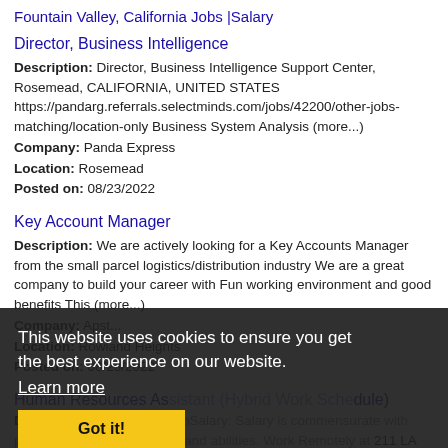Fountain Valley, California Jobs |Salary
Director, Business Intelligence
Description: Director, Business Intelligence Support Center, Rosemead, CALIFORNIA, UNITED STATES https://pandarg.referrals.selectminds.com/jobs/42200/other-jobs-matching/location-only Business System Analysis (more...)
Company: Panda Express
Location: Rosemead
Posted on: 08/23/2022
Key Account Manager
Description: We are actively looking for a Key Accounts Manager from the small parcel logistics/distribution industry We are a great company to build your career with Fun working environment and good benefits This (more...)
Company: Apst...
Location: Rowland Heights
Posted on: 08/23/2022
Human Resources Assistant (Hybrid Work Schedule)
Description: Job DescriptionSalary: Salary is commensurate with prior experience, education, and abilities. Work Remotely at 211 LA Since 1981, 211 LA has been a non-profit leader engaging
This website uses cookies to ensure you get the best experience on our website. Learn more Got it!